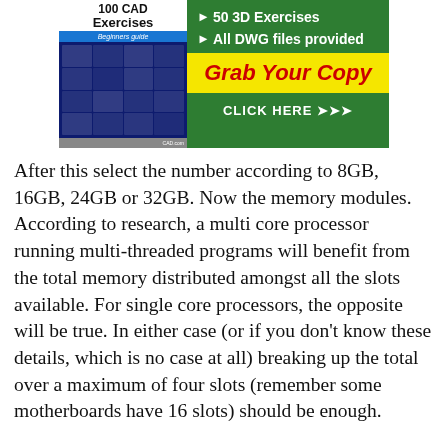[Figure (illustration): Advertisement banner for a CAD Exercises book (Beginners guide, 50 3D Exercises, All DWG files provided) with green background, yellow 'Grab Your Copy' button, and 'CLICK HERE >>>' call to action.]
After this select the number according to 8GB, 16GB, 24GB or 32GB. Now the memory modules. According to research, a multi core processor running multi-threaded programs will benefit from the total memory distributed amongst all the slots available. For single core processors, the opposite will be true. In either case (or if you don't know these details, which is no case at all) breaking up the total over a maximum of four slots (remember some motherboards have 16 slots) should be enough.